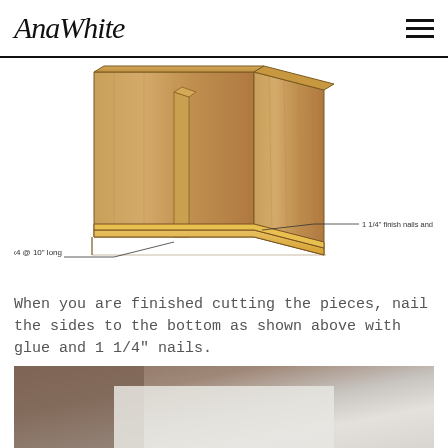AnaWhite
[Figure (engineering-diagram): 3D diagram of a wooden box/cabinet showing two tall side panels attached to a bottom piece. Labels point to: '1x4 @ 10" long' (the bottom piece) and '1 1/4" finish nails and wood glue' (the fasteners).]
When you are finished cutting the pieces, nail the sides to the bottom as shown above with glue and 1 1/4" nails.
[Figure (photo): Partial photo of a wooden surface and what appears to be a white piece of paper or board on a table, photographed from above.]